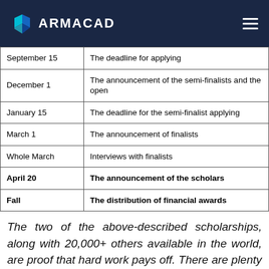[Figure (logo): ARMACAD logo with teal/blue diamond icon on dark navy header bar]
| Date | Event |
| --- | --- |
| September 15 | The deadline for applying |
| December 1 | The announcement of the semi-finalists and the open... |
| January 15 | The deadline for the semi-finalist applying |
| March 1 | The announcement of finalists |
| Whole March | Interviews with finalists |
| April 20 | The announcement of the scholars |
| Fall | The distribution of financial awards |
The two of the above-described scholarships, along with 20,000+ others available in the world, are proof that hard work pays off. There are plenty of opportunities to reach...